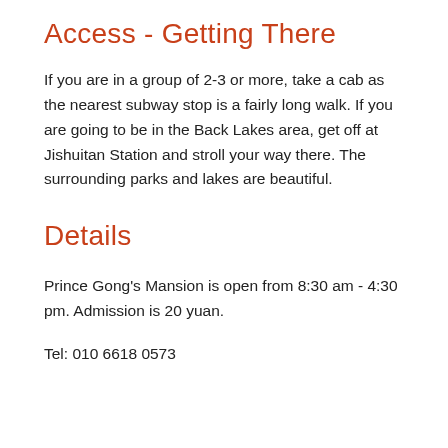Access - Getting There
If you are in a group of 2-3 or more, take a cab as the nearest subway stop is a fairly long walk. If you are going to be in the Back Lakes area, get off at Jishuitan Station and stroll your way there. The surrounding parks and lakes are beautiful.
Details
Prince Gong's Mansion is open from 8:30 am - 4:30 pm. Admission is 20 yuan.
Tel: 010 6618 0573